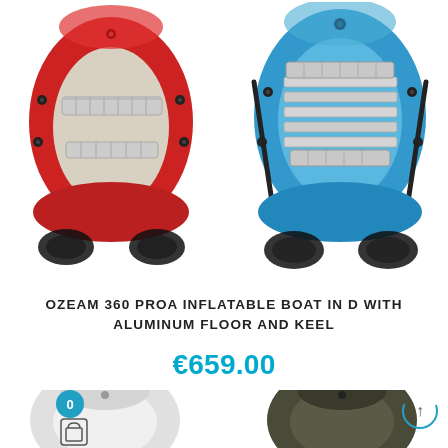[Figure (photo): Red inflatable boat viewed from above, with aluminum bench seat and black fittings]
[Figure (photo): Blue inflatable boat viewed from above, with aluminum floor slats and aluminum bench seat and black oars]
OZEAM 360 PROA INFLATABLE BOAT IN D WITH ALUMINUM FLOOR AND KEEL
€659.00
[Figure (photo): Partial view of gray/white inflatable boat from above]
[Figure (photo): Partial view of dark khaki/olive inflatable boat from above]